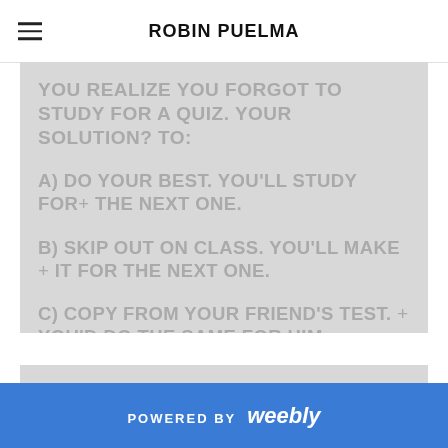ROBIN PUELMA
YOU REALIZE YOU FORGOT TO STUDY FOR A QUIZ. YOUR SOLUTION? TO:
A) DO YOUR BEST. YOU'LL STUDY FOR THE NEXT ONE.
B) SKIP OUT ON CLASS. YOU'LL MAKE IT FOR THE NEXT ONE.
C) COPY FROM YOUR FRIEND'S TEST. YOU'D DO THE SAME FOR HIM.
POWERED BY weebly